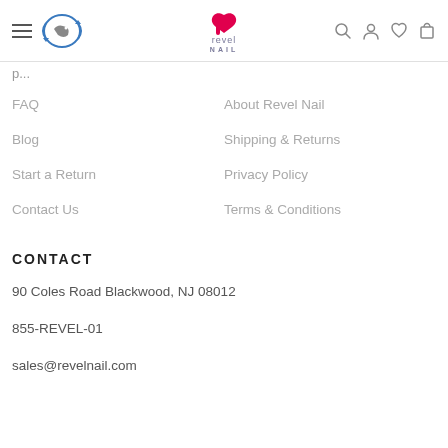Revel Nail - navigation header with hamburger menu, logo, search, account, wishlist, cart icons
FAQ
About Revel Nail
Blog
Shipping & Returns
Start a Return
Privacy Policy
Contact Us
Terms & Conditions
CONTACT
90 Coles Road Blackwood, NJ 08012
855-REVEL-01
sales@revelnail.com